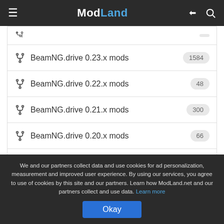ModLand
BeamNG.drive 0.23.x mods 1584
BeamNG.drive 0.22.x mods 48
BeamNG.drive 0.21.x mods 300
BeamNG.drive 0.20.x mods 66
All BeamNG.drive Game Versions »
TRENDING SEARCHES
We and our partners collect data and use cookies for ad personalization, measurement and improved user experience. By using our services, you agree to use of cookies by this site and our partners. Learn how ModLand.net and our partners collect and use data. Learn more